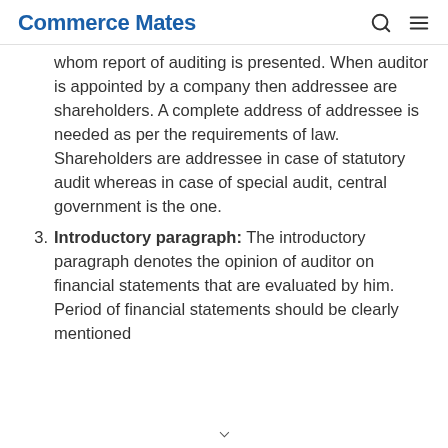Commerce Mates
whom report of auditing is presented. When auditor is appointed by a company then addressee are shareholders. A complete address of addressee is needed as per the requirements of law. Shareholders are addressee in case of statutory audit whereas in case of special audit, central government is the one.
3. Introductory paragraph: The introductory paragraph denotes the opinion of auditor on financial statements that are evaluated by him. Period of financial statements should be clearly mentioned